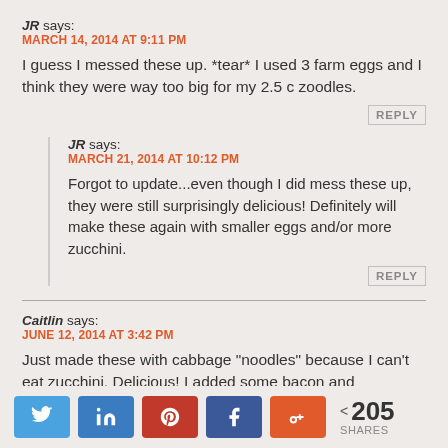JR says:
MARCH 14, 2014 AT 9:11 PM
I guess I messed these up. *tear* I used 3 farm eggs and I think they were way too big for my 2.5 c zoodles.
REPLY
JR says:
MARCH 21, 2014 AT 10:12 PM
Forgot to update...even though I did mess these up, they were still surprisingly delicious! Definitely will make these again with smaller eggs and/or more zucchini.
REPLY
Caitlin says:
JUNE 12, 2014 AT 3:42 PM
Just made these with cabbage "noodles" because I can't eat zucchini. Delicious! I added some bacon and
[Figure (infographic): Social share bar with Twitter, LinkedIn, Pinterest, Facebook, Google+ buttons and 205 shares count]